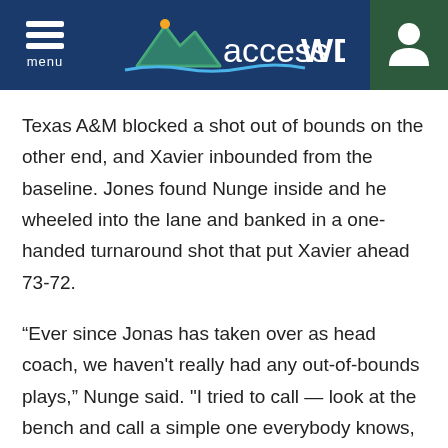accessWDUN
Texas A&M blocked a shot out of bounds on the other end, and Xavier inbounded from the baseline. Jones found Nunge inside and he wheeled into the lane and banked in a one-handed turnaround shot that put Xavier ahead 73-72.
“Ever since Jonas has taken over as head coach, we haven't really had any out-of-bounds plays,” Nunge said. "I tried to call — look at the bench and call a simple one everybody knows, and Colby looked at me and said he was going to throw me the ball and basically act to complete the pass do